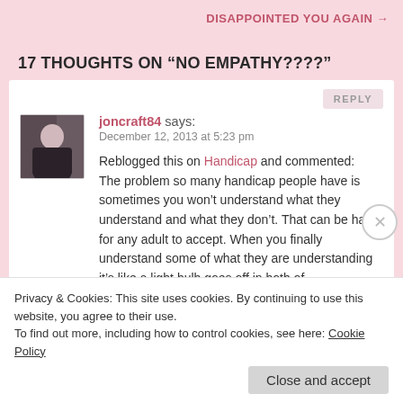DISAPPOINTED YOU AGAIN →
17 THOUGHTS ON "NO EMPATHY????"
joncraft84 says:
December 12, 2013 at 5:23 pm
Reblogged this on Handicap and commented:
The problem so many handicap people have is sometimes you won't understand what they understand and what they don't. That can be hard for any adult to accept. When you finally understand some of what they are understanding it's like a light bulb goes off in both of
Privacy & Cookies: This site uses cookies. By continuing to use this website, you agree to their use.
To find out more, including how to control cookies, see here: Cookie Policy
Close and accept